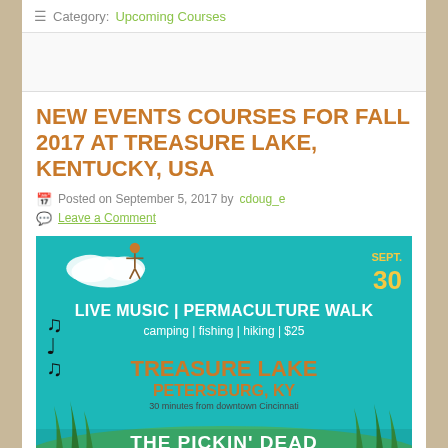☰ Category: Upcoming Courses
NEW EVENTS COURSES FOR FALL 2017 AT TREASURE LAKE, KENTUCKY, USA
Posted on September 5, 2017 by cdoug_e
Leave a Comment
[Figure (illustration): Event flyer for Treasure Lake, Petersburg, KY on Sept. 30. Teal background with text: LIVE MUSIC | PERMACULTURE WALK, camping | fishing | hiking | $25, TREASURE LAKE, PETERSBURG, KY, 30 minutes from downtown Cincinnati. Features decorative cloud, bird, musical notes, and grass illustrations. Bottom text: THE PICKIN' DEAD]